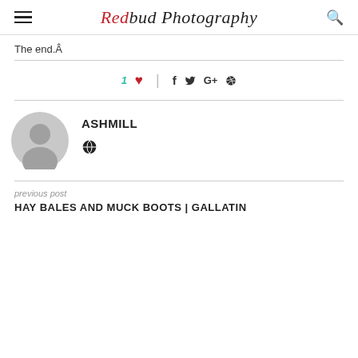Redbud Photography
The end.Â
1 ♥  |  f  t  G+  ®
[Figure (illustration): Gray circular user avatar placeholder icon]
ASHMILL
🌐
previous post
HAY BALES AND MUCK BOOTS | GALLATIN